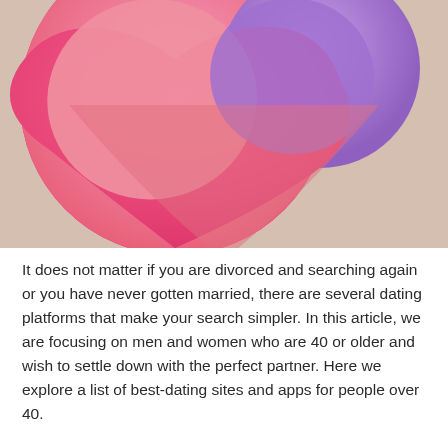[Figure (illustration): A decorative illustration of a heart shape made of two overlapping circles — a large pink/salmon circle on the left and a purple/lavender circle on the upper right — forming a heart silhouette against a warm beige/tan background. The bottom of the heart tapers to a point at the center bottom.]
It does not matter if you are divorced and searching again or you have never gotten married, there are several dating platforms that make your search simpler. In this article, we are focusing on men and women who are 40 or older and wish to settle down with the perfect partner. Here we explore a list of best-dating sites and apps for people over 40.